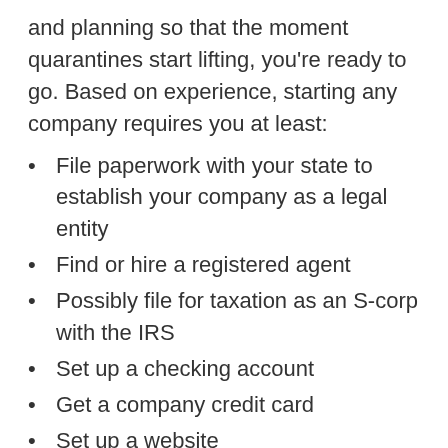and planning so that the moment quarantines start lifting, you're ready to go. Based on experience, starting any company requires you at least:
File paperwork with your state to establish your company as a legal entity
Find or hire a registered agent
Possibly file for taxation as an S-corp with the IRS
Set up a checking account
Get a company credit card
Set up a website
Set up social media accounts
Write a business plan